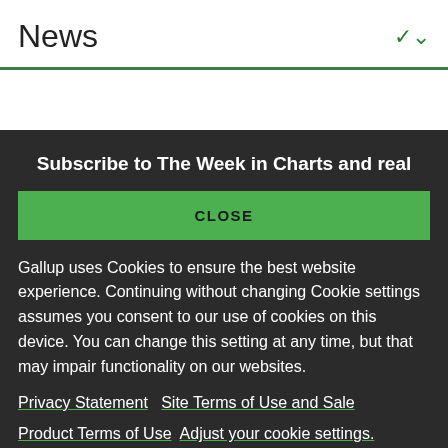News
Subscribe to The Week in Charts and real
CLOSE
Gallup uses Cookies to ensure the best website experience. Continuing without changing Cookie settings assumes you consent to our use of cookies on this device. You can change this setting at any time, but that may impair functionality on our websites.
Privacy Statement   Site Terms of Use and Sale
Product Terms of Use   Adjust your cookie settings.